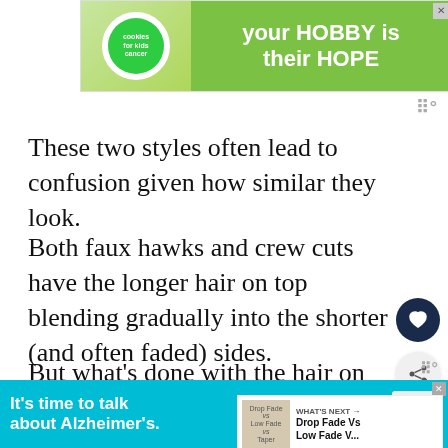[Figure (other): Advertisement banner for Cookies for Kids' Cancer: 'your HOBBY is their HOPE' on green background with cookies logo]
These two styles often lead to confusion given how similar they look.
Both faux hawks and crew cuts have the longer hair on top blending gradually into the shorter (and often faded) sides.
But what’s done with the hair on top is actually quite different between the two styles.
[Figure (other): Floating action buttons: heart (save) and share icons on right side]
[Figure (other): What's Next widget showing 'Drop Fade Vs Low Fade V...' with thumbnail]
One can be confused for one of the other but actually qu...
[Figure (other): Alzheimer's association advertisement: "It's time to talk about Alzheimer's." with LEARN MORE button on teal background]